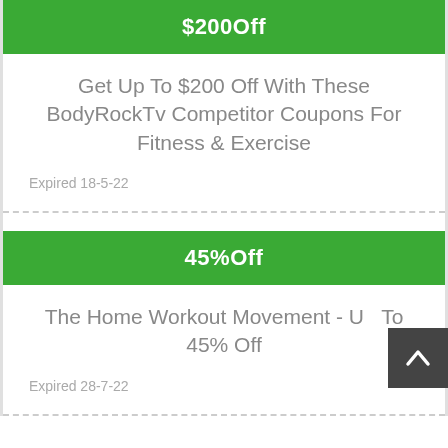$200Off
Get Up To $200 Off With These BodyRockTv Competitor Coupons For Fitness & Exercise
Expired 18-5-22
45%Off
The Home Workout Movement - Up To 45% Off
Expired 28-7-22